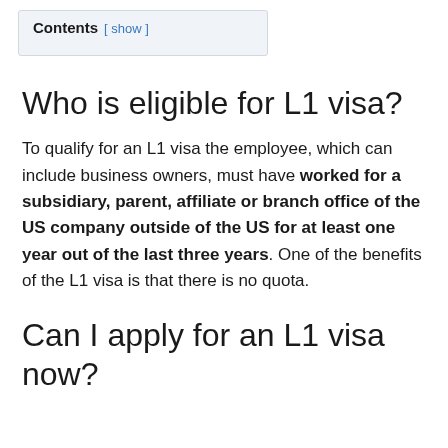Contents [ show ]
Who is eligible for L1 visa?
To qualify for an L1 visa the employee, which can include business owners, must have worked for a subsidiary, parent, affiliate or branch office of the US company outside of the US for at least one year out of the last three years. One of the benefits of the L1 visa is that there is no quota.
Can I apply for an L1 visa now?